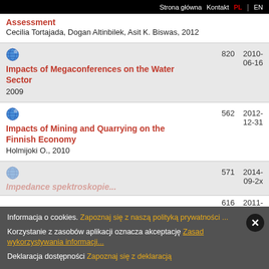Strona główna  Kontakt  PL | EN
Assessment
Cecilia Tortajada, Dogan Altinbilek, Asit K. Biswas, 2012
| Title/Author | Count | Date |
| --- | --- | --- |
| Impacts of Megaconferences on the Water Sector
2009 | 820 | 2010-06-16 |
| Impacts of Mining and Quarrying on the Finnish Economy
Holmijoki O., 2010 | 562 | 2012-12-31 |
| [partial title]
[partial] | 571 | 2014-09-2x |
Informacja o cookies. Zapoznaj się z naszą polityką prywatności ...
Korzystanie z zasobów aplikacji oznacza akceptację Zasad wykorzystywania informacji...
Deklaracja dostępności Zapoznaj się z deklaracją
616  2011-